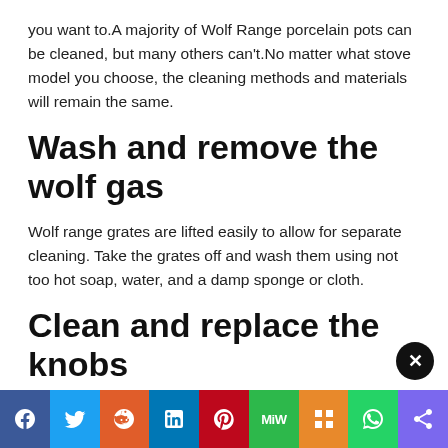you want to.A majority of Wolf Range porcelain pots can be cleaned, but many others can't.No matter what stove model you choose, the cleaning methods and materials will remain the same.
Wash and remove the wolf gas
Wolf range grates are lifted easily to allow for separate cleaning. Take the grates off and wash them using not too hot soap, water, and a damp sponge or cloth.
Clean and replace the knobs